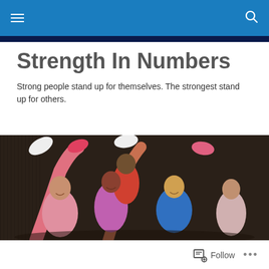Navigation header with hamburger menu and search icon
Strength In Numbers
Strong people stand up for themselves. The strongest stand up for others.
[Figure (photo): Group of people in colorful 1980s aerobics workout attire posing energetically, with legs and arms raised, against a dark corrugated metal background]
Follow  •••